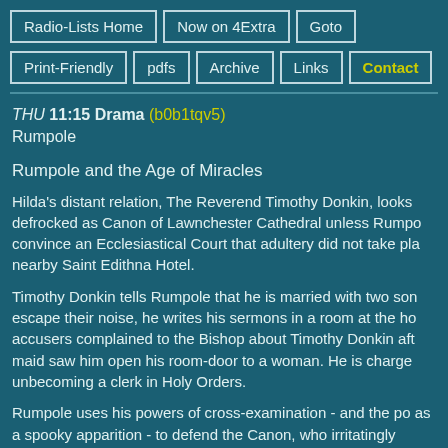Radio-Lists Home | Now on 4Extra | Goto | Print-Friendly | pdfs | Archive | Links | Contact
THU 11:15 Drama (b0b1tqv5)
Rumpole
Rumpole and the Age of Miracles
Hilda's distant relation, The Reverend Timothy Donkin, looks defrocked as Canon of Lawnchester Cathedral unless Rumpole can convince an Ecclesiastical Court that adultery did not take place at the nearby Saint Edithna Hotel.
Timothy Donkin tells Rumpole that he is married with two sons. To escape their noise, he writes his sermons in a room at the hotel. His accusers complained to the Bishop about Timothy Donkin after the hotel maid saw him open his room-door to a woman. He is charged with conduct unbecoming a clerk in Holy Orders.
Rumpole uses his powers of cross-examination - and the power as a spooky apparition - to defend the Canon, who irritatingly refuses to discuss if, in fact, he did meet anyone in the hotel.